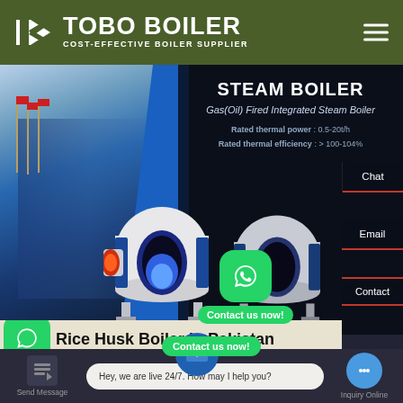[Figure (screenshot): TOBO BOILER website header with dark olive green background, logo with white triangular icon, company name TOBO BOILER in large white bold text, subtitle COST-EFFECTIVE BOILER SUPPLIER, and hamburger menu icon on the right]
[Figure (photo): Website hero section showing a building with flags on the left and Gas(Oil) Fired Integrated Steam Boiler products on dark background. Text overlay: STEAM BOILER, Gas(Oil) Fired Integrated Steam Boiler, Rated thermal power: 0.5-20t/h, Rated thermal efficiency: >100-104%. Chat and Email contact buttons on right sidebar.]
STEAM BOILER
Gas(Oil) Fired Integrated Steam Boiler
Rated thermal power : 0.5-20t/h
Rated thermal efficiency : > 100-104%
Chat
Email
Contact us now!
Contact
Rice Husk Boiler In Pakistan
Contact us now!
Hey, we are live 24/7. How may I help you?
Send Message
Inquiry Online